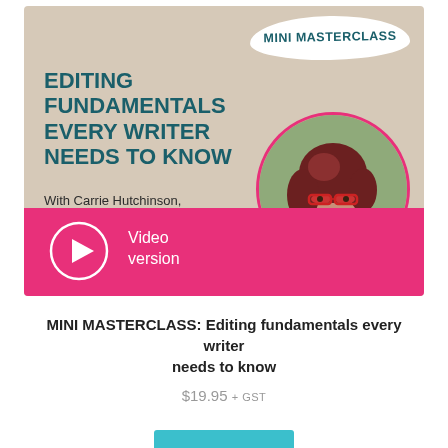[Figure (illustration): Mini Masterclass course promotional banner with beige/tan background, teal bold title 'EDITING FUNDAMENTALS EVERY WRITER NEEDS TO KNOW', instructor name 'With Carrie Hutchinson, Grin Creative', pink bottom bar with play button circle and 'Video version' text, and circular photo of a woman with red hair and red-framed glasses]
MINI MASTERCLASS: Editing fundamentals every writer needs to know
$19.95 + GST